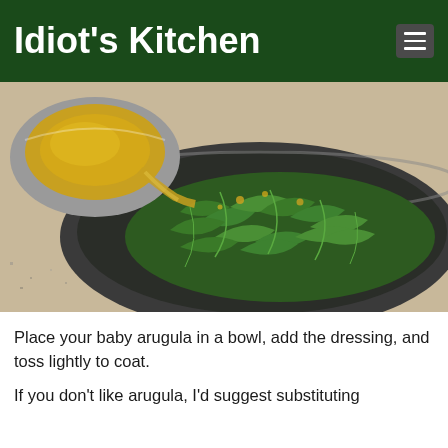Idiot's Kitchen
[Figure (photo): Dressing being poured from a small bowl onto fresh baby arugula leaves in a large dark metal mixing bowl, on a granite countertop.]
Place your baby arugula in a bowl, add the dressing, and toss lightly to coat.
If you don't like arugula, I'd suggest substituting